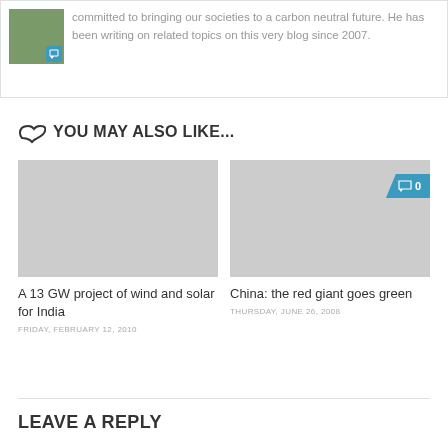committed to bringing our societies to a carbon neutral future. He has been writing on related topics on this very blog since 2007.
YOU MAY ALSO LIKE...
[Figure (photo): Thumbnail image placeholder for article 1]
A 13 GW project of wind and solar for India
FRIDAY, FEBRUARY 12, 2010
[Figure (photo): Thumbnail image placeholder for article 2 with comment badge showing 0]
China: the red giant goes green
THURSDAY, JUNE 26, 2008
LEAVE A REPLY